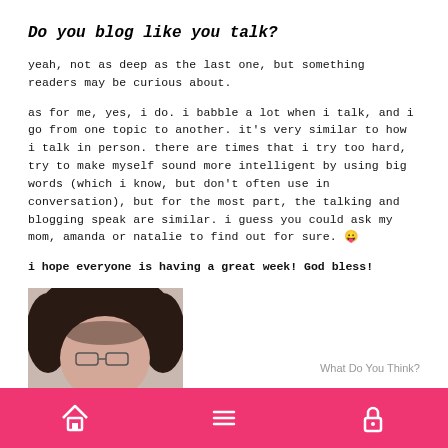Do you blog like you talk?
yeah, not as deep as the last one, but something readers may be curious about.
as for me, yes, i do. i babble a lot when i talk, and i go from one topic to another. it’s very similar to how i talk in person. there are times that i try too hard, try to make myself sound more intelligent by using big words (which i know, but don’t often use in conversation), but for the most part, the talking and blogging speak are similar. i guess you could ask my mom, amanda or natalie to find out for sure. 😛
i hope everyone is having a great week! God bless!
Blog Keeper Meme 4.2.08
What Do You Think?
[Figure (photo): Partial photo of a person with dark hair and glasses, cropped at bottom of page]